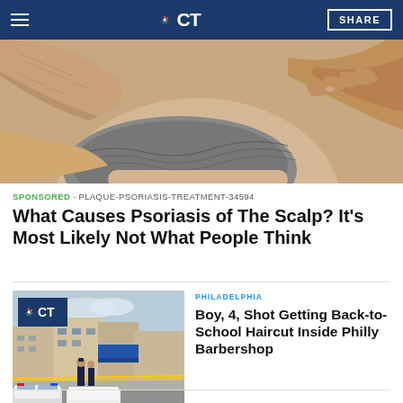NBC CT — SHARE
[Figure (photo): Close-up photo of an elderly person scratching the back of their scalp/neck with their hand, showing skin texture and gray hair.]
SPONSORED · PLAQUE-PSORIASIS-TREATMENT-34594
What Causes Psoriasis of The Scalp? It's Most Likely Not What People Think
[Figure (photo): News thumbnail showing a street scene in Philadelphia with police vehicles and officers outside a barbershop, with yellow crime scene tape visible. NBC CT logo overlay in upper left.]
PHILADELPHIA
Boy, 4, Shot Getting Back-to-School Haircut Inside Philly Barbershop